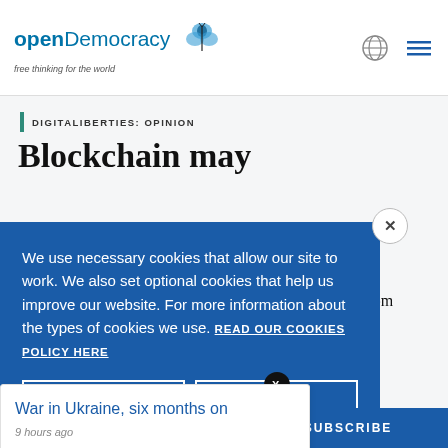openDemocracy — free thinking for the world
DIGITALIBERTIES: OPINION
Blockchain may
We use necessary cookies that allow our site to work. We also set optional cookies that help us improve our website. For more information about the types of cookies we use. READ OUR COOKIES POLICY HERE
COOKIE
ALLOW
War in Ukraine, six months on
9 hours ago
SUBSCRIBE